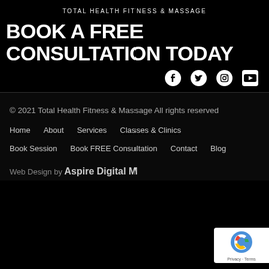TOTAL HEALTH FITNESS & MASSAGE
BOOK A FREE CONSULTATION TODAY
[Figure (infographic): Social media icons: Facebook, Twitter, Instagram, YouTube]
© 2021 Total Health Fitness & Massage All rights reserved
Home
About
Services
Classes & Clinics
Book Session
Book FREE Consultation
Contact
Blog
Web Design by Aspire Digital M...